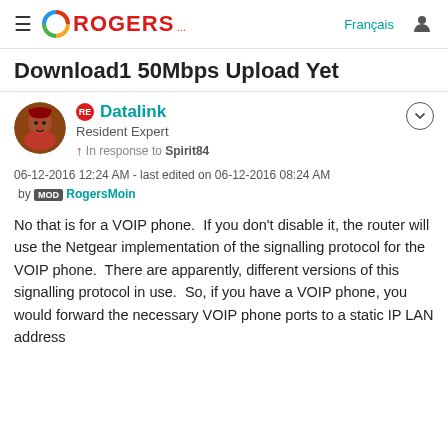ROGERS... | Français
Download1 50Mbps Upload Yet
RE Datalink
Resident Expert
↑ In response to Spirit84
06-12-2016 12:24 AM - last edited on 06-12-2016 08:24 AM by MOD RogersMoin
No that is for a VOIP phone.  If you don't disable it, the router will use the Netgear implementation of the signalling protocol for the VOIP phone.  There are apparently, different versions of this signalling protocol in use.  So, if you have a VOIP phone, you would forward the necessary VOIP phone ports to a static IP LAN address